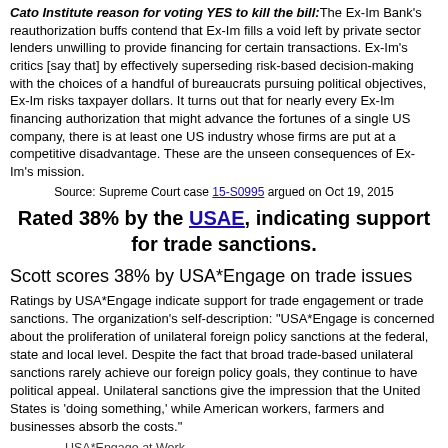Cato Institute reason for voting YES to kill the bill: The Ex-Im Bank's reauthorization buffs contend that Ex-Im fills a void left by private sector lenders unwilling to provide financing for certain transactions. Ex-Im's critics [say that] by effectively superseding risk-based decision-making with the choices of a handful of bureaucrats pursuing political objectives, Ex-Im risks taxpayer dollars. It turns out that for nearly every Ex-Im financing authorization that might advance the fortunes of a single US company, there is at least one US industry whose firms are put at a competitive disadvantage. These are the unseen consequences of Ex-Im's mission.
Source: Supreme Court case 15-S0995 argued on Oct 19, 2015
Rated 38% by the USAE, indicating support for trade sanctions.
Scott scores 38% by USA*Engage on trade issues
Ratings by USA*Engage indicate support for trade engagement or trade sanctions. The organization's self-description: "USA*Engage is concerned about the proliferation of unilateral foreign policy sanctions at the federal, state and local level. Despite the fact that broad trade-based unilateral sanctions rarely achieve our foreign policy goals, they continue to have political appeal. Unilateral sanctions give the impression that the United States is 'doing something,' while American workers, farmers and businesses absorb the costs."
USA*Engage at Work
Developing the Case: USA*Engage explains the benefits of economic engagement, and the high cost of sanctions for American exports, investment and jobs.
Education: We recruit respected foreign policy and economic experts to speak out against sanctions, actively engage the media and provide